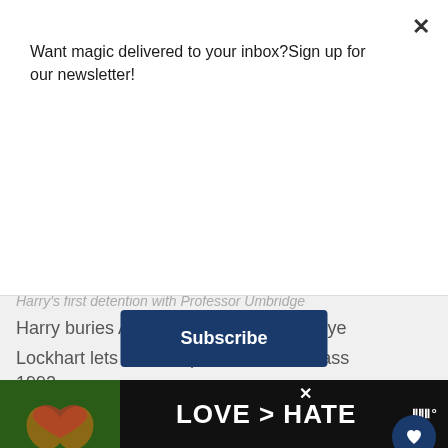Want magic delivered to your inbox?Sign up for our newsletter!
Subscribe
Harry's first detention with Professor Umbridge
Harry buries Alastor Moody's magical eye
Lockhart lets Cornish pixies loose in class 1992
Sun, Sep 4
Ellie Darcey-Alden's birthday
Young Lily Evans
Hermione forms SPEW
1994
LOVE > HATE